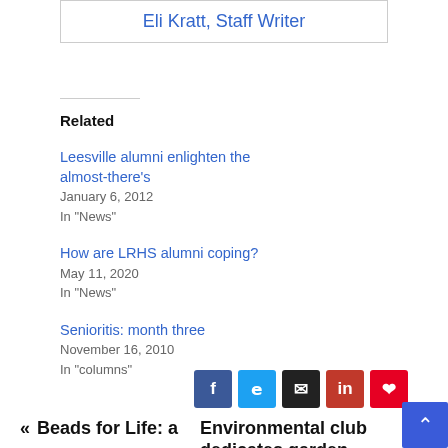Eli Kratt, Staff Writer
Related
Leesville alumni enlighten the almost-there's
January 6, 2012
In "News"
Senioritis: month three
November 16, 2010
In "columns"
How are LRHS alumni coping?
May 11, 2020
In "News"
« Beads for Life: a
Environmental club dedicates garden,